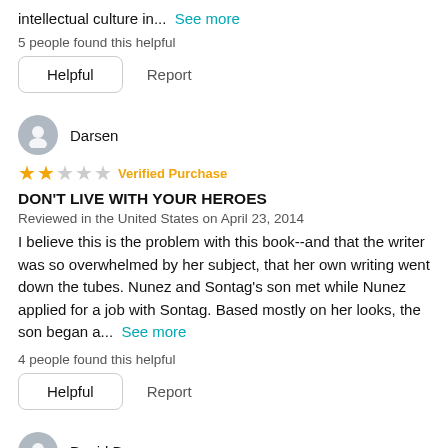intellectual culture in... See more
5 people found this helpful
Helpful   Report
Darsen
★★☆☆☆ Verified Purchase
DON'T LIVE WITH YOUR HEROES
Reviewed in the United States on April 23, 2014
I believe this is the problem with this book--and that the writer was so overwhelmed by her subject, that her own writing went down the tubes. Nunez and Sontag's son met while Nunez applied for a job with Sontag. Based mostly on her looks, the son began a... See more
4 people found this helpful
Helpful   Report
David B.